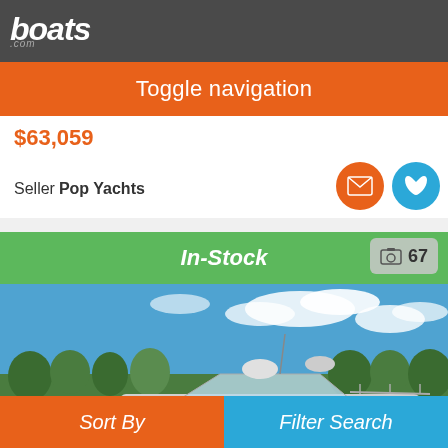boats.com
Toggle navigation
$63,059
Seller Pop Yachts
In-Stock
[Figure (photo): Boat on land against blue sky with trees in background]
Sort By
Filter Search